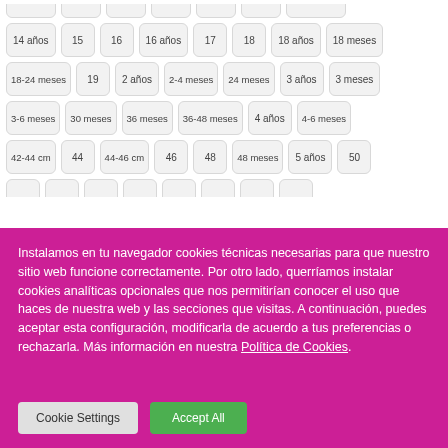14 años, 15, 16, 16 años, 17, 18, 18 años, 18 meses
18-24 meses, 19, 2 años, 2-4 meses, 24 meses, 3 años, 3 meses
3-6 meses, 30 meses, 36 meses, 36-48 meses, 4 años, 4-6 meses
42-44 cm, 44, 44-46 cm, 46, 48, 48 meses, 5 años, 50
Instalamos en tu navegador cookies técnicas necesarias para que nuestro sitio web funcione correctamente. Por otro lado, querríamos instalar cookies analíticas opcionales que nos permitirían conocer el uso que haces de nuestra web y las secciones que visitas. A continuación, puedes aceptar esta configuración, modificarla de acuerdo a tus preferencias o rechazarla. Más información en nuestra Política de Cookies.
Cookie Settings | Accept All